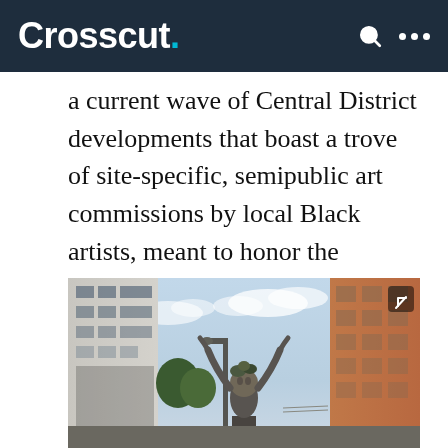Crosscut.
a current wave of Central District developments that boast a trove of site-specific, semipublic art commissions by local Black artists, meant to honor the neighborhood’s history and cultural vibrancy.
[Figure (photo): Outdoor sculpture of an abstract figure with raised arms, standing between modern buildings in the Central District. The sculpture appears metallic and features a face-like form in the center.]